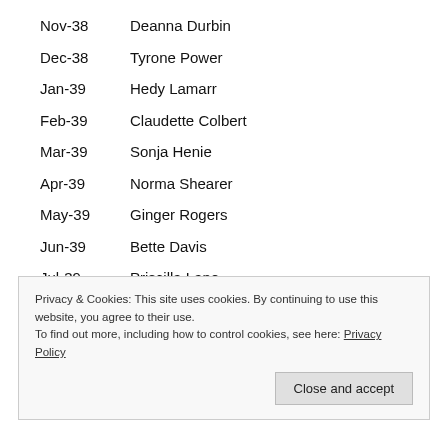Nov-38    Deanna Durbin
Dec-38    Tyrone Power
Jan-39    Hedy Lamarr
Feb-39    Claudette Colbert
Mar-39    Sonja Henie
Apr-39    Norma Shearer
May-39    Ginger Rogers
Jun-39    Bette Davis
Jul-39    Priscilla Lane
Privacy & Cookies: This site uses cookies. By continuing to use this website, you agree to their use. To find out more, including how to control cookies, see here: Privacy Policy
Close and accept